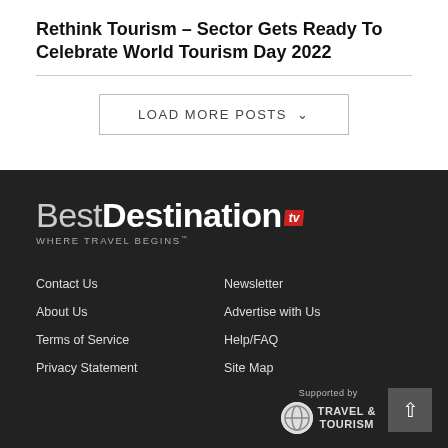Rethink Tourism – Sector Gets Ready To Celebrate World Tourism Day 2022
LOAD MORE POSTS
[Figure (logo): BestDestination.tv logo with tagline WHERE TRAVEL BEGINS]
Contact Us
About Us
Terms of Service
Privacy Statement
Newsletter
Advertise with Us
Help/FAQ
Site Map
Supported by TRAVEL & TOURISM